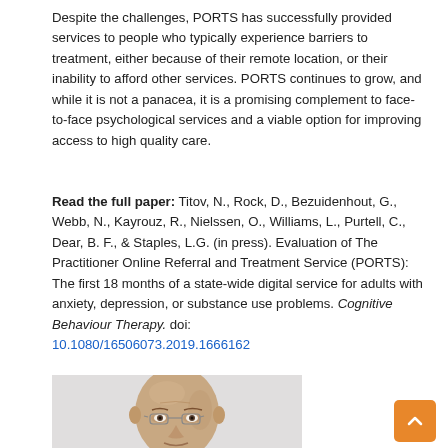Despite the challenges, PORTS has successfully provided services to people who typically experience barriers to treatment, either because of their remote location, or their inability to afford other services. PORTS continues to grow, and while it is not a panacea, it is a promising complement to face-to-face psychological services and a viable option for improving access to high quality care.
Read the full paper: Titov, N., Rock, D., Bezuidenhout, G., Webb, N., Kayrouz, R., Nielssen, O., Williams, L., Purtell, C., Dear, B. F., & Staples, L.G. (in press). Evaluation of The Practitioner Online Referral and Treatment Service (PORTS): The first 18 months of a state-wide digital service for adults with anxiety, depression, or substance use problems. Cognitive Behaviour Therapy. doi: 10.1080/16506073.2019.1666162
[Figure (photo): Portrait photo of a bald man wearing glasses, head and shoulders visible, light grey background]